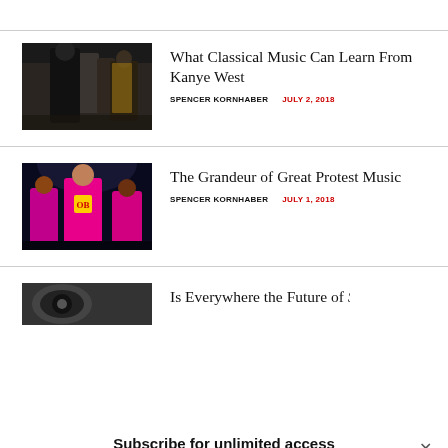[Figure (photo): Fashion show photo with dark-clad figures walking a runway]
What Classical Music Can Learn From Kanye West
SPENCER KORNHABER   JULY 2, 2018
[Figure (photo): Performer in bright pink outfit on stage with dancers]
The Grandeur of Great Protest Music
SPENCER KORNHABER   JULY 1, 2018
[Figure (photo): Partially visible article thumbnail]
Is Everywhere the Future of Soul Music?
Subscribe for unlimited access